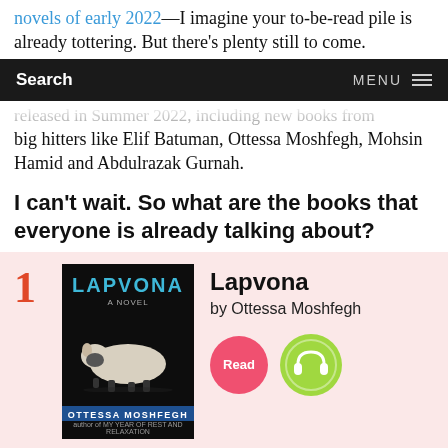novels of early 2022—I imagine your to-be-read pile is already tottering. But there's plenty still to come.
Search   MENU
released in Summer 2022, including new books from big hitters like Elif Batuman, Ottessa Moshfegh, Mohsin Hamid and Abdulrazak Gurnah.
I can't wait. So what are the books that everyone is already talking about?
1 Lapvona by Ottessa Moshfegh